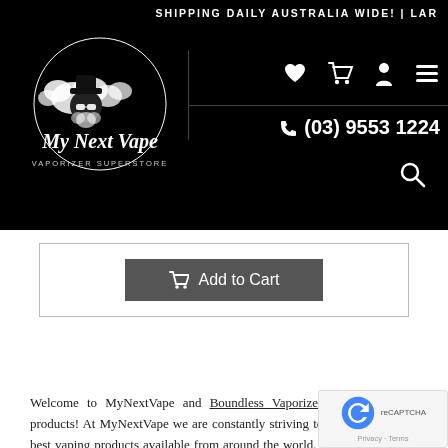SHIPPING DAILY AUSTRALIA WIDE! | LAR...
[Figure (logo): My Next Vape - Vaporizer Superstore logo with illustrated character in black and white]
[Figure (screenshot): Navigation icons: heart/wishlist, shopping cart, account, menu hamburger in white on black header]
(03) 9553 1224
[Figure (screenshot): Add to Cart button with cart icon on dark background]
Welcome to MyNextVape and Boundless Vaporizers and aromatherapy products! At MyNextVape we are constantly striving to bring our clients the best vaping products available from around the world. Boundless Vaporizers have been producing high-quality, affordable, and reliable portable vaporizers for well over a decade now.

When it comes to vaping, you're searching for a Boundless Dry Herb Vaporizers which offers you certain things. You